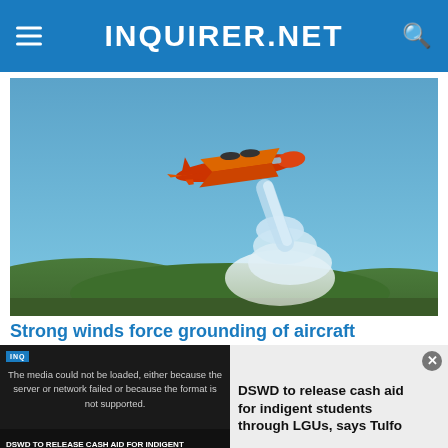INQUIRER.NET
[Figure (photo): A red-and-yellow firefighting aircraft (water bomber) dropping a large plume of white water/retardant against a clear blue sky, with green hills visible at the bottom.]
Strong winds force grounding of aircraft
[Figure (screenshot): Video overlay showing a media error message: 'The media could not be loaded, either because the server or network failed or because the format is not supported.' On the right side is a sidebar showing 'DSWD to release cash aid for indigent students through LGUs, says Tulfo' with a thumbnail. At the bottom is an X close button.]